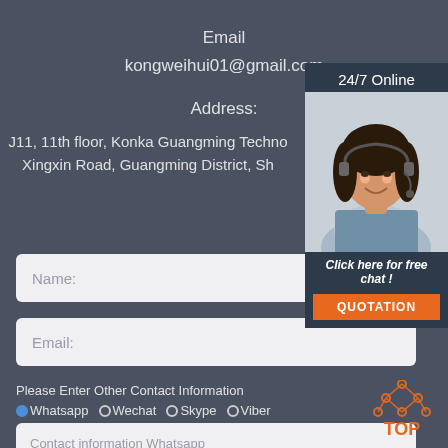Email
kongweihui01@gmail.com
Address:
J11, 11th floor, Konka Guangming Techno Xingxin Road, Guangming District, Sh
[Figure (photo): Customer service representative with headset, labeled 24/7 Online and Click here for free chat! with QUOTATION button]
Name:
Email:
Please Enter Other Contact Information
Whatsapp
Wechat
Skype
Viber
Contact information Whatsapp
[Figure (logo): TOP logo with orange triangle/dots above text TOP]